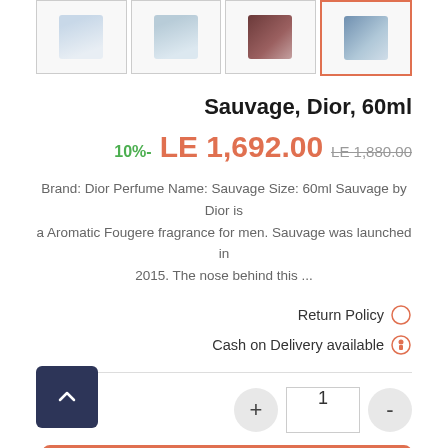[Figure (screenshot): Row of 4 product thumbnail images for Sauvage Dior 60ml perfume; last thumbnail has an orange/red border indicating it is selected]
Sauvage, Dior, 60ml
10%- LE 1,692.00  LE 1,880.00
Brand: Dior Perfume Name: Sauvage Size: 60ml Sauvage by Dior is a Aromatic Fougere fragrance for men. Sauvage was launched in 2015. The nose behind this ...
Return Policy
Cash on Delivery available
1
Add To Cart